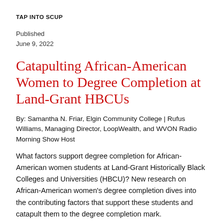TAP INTO SCUP
Published
June 9, 2022
Catapulting African-American Women to Degree Completion at Land-Grant HBCUs
By: Samantha N. Friar, Elgin Community College | Rufus Williams, Managing Director, LoopWealth, and WVON Radio Morning Show Host
What factors support degree completion for African-American women students at Land-Grant Historically Black Colleges and Universities (HBCU)? New research on African-American women's degree completion dives into the contributing factors that support these students and catapult them to the degree completion mark.